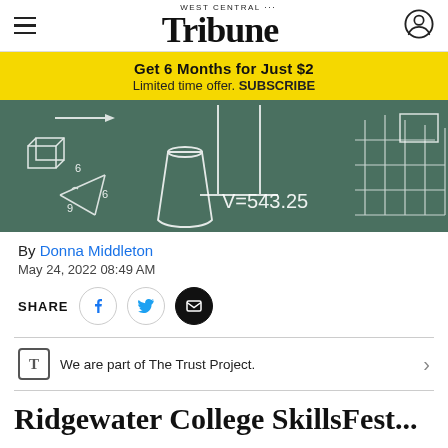West Central Tribune
Get 6 Months for Just $2
Limited time offer. SUBSCRIBE
[Figure (photo): Chalkboard with math drawings and formula V=543.25]
By Donna Middleton
May 24, 2022 08:49 AM
SHARE
We are part of The Trust Project.
Ridgewater College SkillsFest...